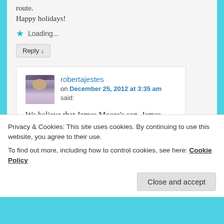route.
Happy holidays!
Loading...
Reply ↓
robertajestes on December 25, 2012 at 3:35 am said:
We believe that James Moore's son, James went to Rowan County. He married a Susanna. The DNA matches. There are other groups there too, several in fact, but
Privacy & Cookies: This site uses cookies. By continuing to use this website, you agree to their use.
To find out more, including how to control cookies, see here: Cookie Policy
Close and accept